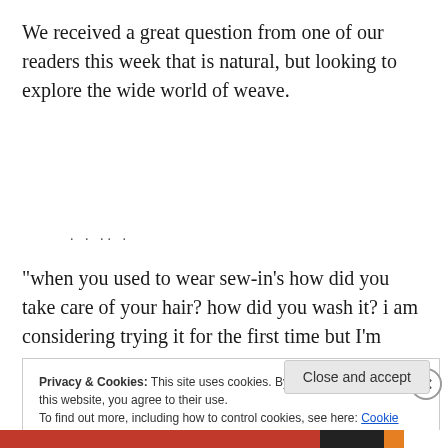We received a great question from one of our readers this week that is natural, but looking to explore the wide world of weave.
“when you used to wear sew-in’s how did you take care of your hair? how did you wash it? i am considering trying it for the first time but I’m unsure about it.”
Privacy & Cookies: This site uses cookies. By continuing to use this website, you agree to their use.
To find out more, including how to control cookies, see here: Cookie Policy